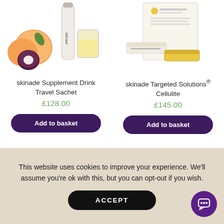[Figure (photo): Photo of skinade Supplement Drink Travel Sachet product with peaches and mangosteen fruit]
skinade Supplement Drink Travel Sachet
£128.00
Add to basket
[Figure (photo): Photo of skinade Targeted Solutions Cellulite product box with sachets]
skinade Targeted Solutions® Cellulite
£145.00
Add to basket
This website uses cookies to improve your experience. We'll assume you're ok with this, but you can opt-out if you wish.
ACCEPT